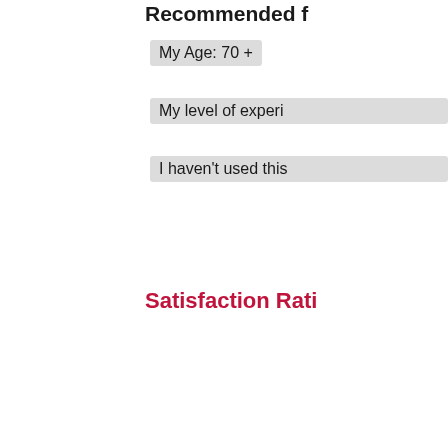Recommended f
My Age: 70 +
My level of experi
I haven't used this
Satisfaction Rati
Quality
The quality of the
Tidy
There was little di and tidy
Service
The team was frie professional